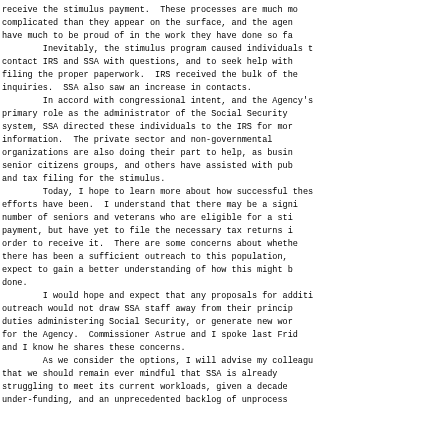receive the stimulus payment. These processes are much more complicated than they appear on the surface, and the agencies have much to be proud of in the work they have done so far.
	Inevitably, the stimulus program caused individuals to contact IRS and SSA with questions, and to seek help with filing the proper paperwork. IRS received the bulk of the inquiries. SSA also saw an increase in contacts.
	In accord with congressional intent, and the Agency's primary role as the administrator of the Social Security system, SSA directed these individuals to the IRS for more information. The private sector and non-governmental organizations are also doing their part to help, as business, senior citizens groups, and others have assisted with public and tax filing for the stimulus.
	Today, I hope to learn more about how successful these efforts have been. I understand that there may be a significant number of seniors and veterans who are eligible for a stimulus payment, but have yet to file the necessary tax returns in order to receive it. There are some concerns about whether there has been a sufficient outreach to this population, and I expect to gain a better understanding of how this might be done.
	I would hope and expect that any proposals for additional outreach would not draw SSA staff away from their principal duties administering Social Security, or generate new workload for the Agency. Commissioner Astrue and I spoke last Friday, and I know he shares these concerns.
	As we consider the options, I will advise my colleagues that we should remain ever mindful that SSA is already struggling to meet its current workloads, given a decade of under-funding, and an unprecedented backlog of unprocessed